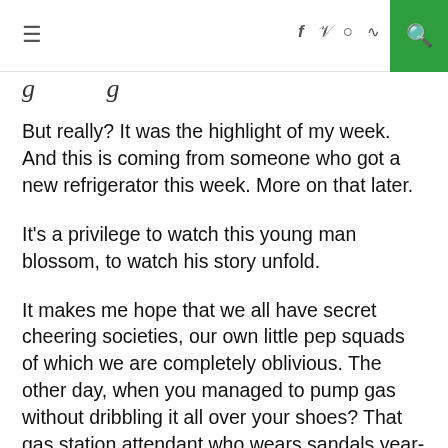≡  f  🐦  ○  ))) 🔍
g g
But really? It was the highlight of my week. And this is coming from someone who got a new refrigerator this week. More on that later.
It's a privilege to watch this young man blossom, to watch his story unfold.
It makes me hope that we all have secret cheering societies, our own little pep squads of which we are completely oblivious. The other day, when you managed to pump gas without dribbling it all over your shoes? That gas station attendant who wears sandals year-round saw you, and he was full of stoic pride. And you don't know it, but he will report it proudly at the weekly pep rally in which your